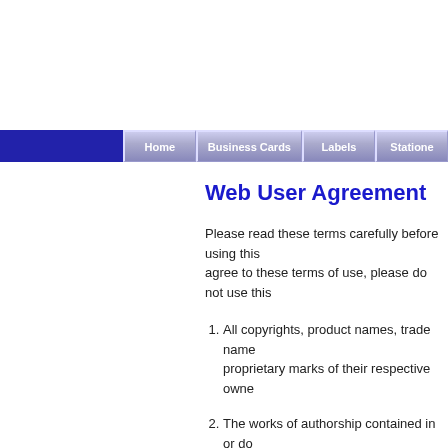Navigation bar with Home, Business Cards, Labels, Stationery
Web User Agreement
Please read these terms carefully before using this. agree to these terms of use, please do not use this.
All copyrights, product names, trade names, and proprietary marks of their respective owners.
The works of authorship contained in or do text, and images, are owned or licensed by transmitted, displayed, performed, distributed, otherwise used in whole or in part in any m such temporary copies in a single computer and the user may make one permanent pr this User Agreement attached) to be used the reputation of the website owner or its a other laws and may not be imitated in who content may be used for certain other limit which makes express reference to the soft
Any software downloaded from this websit accompanying data is licensed to you, and owner. No title or intellectual property right
The owner of any trademark, service mark reproduce such material. You therefore ca copyrighted material onto printed material